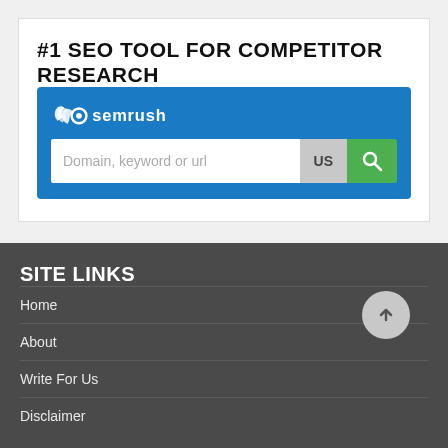#1 SEO TOOL FOR COMPETITOR RESEARCH
[Figure (screenshot): SEMrush search widget with logo, search input field showing placeholder 'Domain, keyword or url', US dropdown button, and green search button]
SITE LINKS
Home
About
Write For Us
Disclaimer